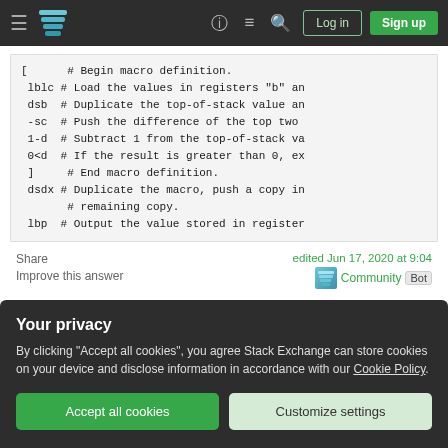Stack Exchange navigation bar with Log in and Sign up buttons
[      # Begin macro definition.
 lblc # Load the values in registers "b" an
 dsb  # Duplicate the top-of-stack value an
 -sc  # Push the difference of the top two
 1-d  # Subtract 1 from the top-of-stack va
 0<d  # If the result is greater than 0, ex
 ]     # End macro definition.
 dsdx # Duplicate the macro, push a copy in
      # remaining copy.
 lbp  # Output the value stored in register
Share
Improve this answer
edited Jun 17, 2020 at 9:04
Community Bot
Your privacy
By clicking "Accept all cookies", you agree Stack Exchange can store cookies on your device and disclose information in accordance with our Cookie Policy.
Accept all cookies
Customize settings